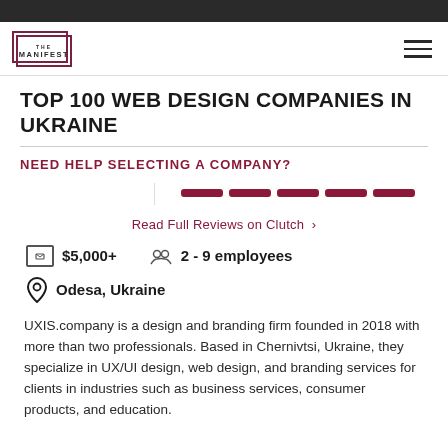THE MANIFEST
TOP 100 WEB DESIGN COMPANIES IN UKRAINE
NEED HELP SELECTING A COMPANY?
Read Full Reviews on Clutch
$5,000+
2 - 9 employees
Odesa, Ukraine
UXIS.company is a design and branding firm founded in 2018 with more than two professionals. Based in Chernivtsi, Ukraine, they specialize in UX/UI design, web design, and branding services for clients in industries such as business services, consumer products, and education.